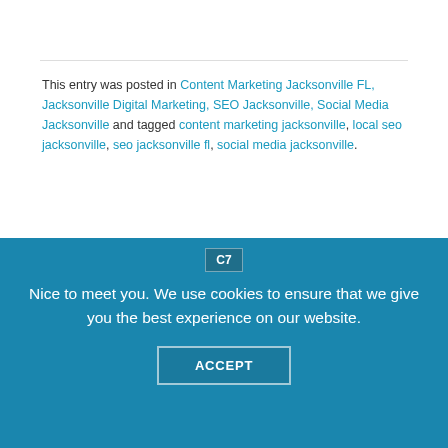[Figure (illustration): Row of partial social media icon circles at the top of the page]
This entry was posted in Content Marketing Jacksonville FL, Jacksonville Digital Marketing, SEO Jacksonville, Social Media Jacksonville and tagged content marketing jacksonville, local seo jacksonville, seo jacksonville fl, social media jacksonville.
[Figure (photo): Circular headshot photo of Calvin Bryant, a man in a dark suit with a blue tie, arms crossed, against a grey background]
CALVIN BRYANT
Entrepreneur. Web innovator. Award-winning creative guy. Calvin Bryant is a
C7
Nice to meet you. We use cookies to ensure that we give you the best experience on our website.
ACCEPT